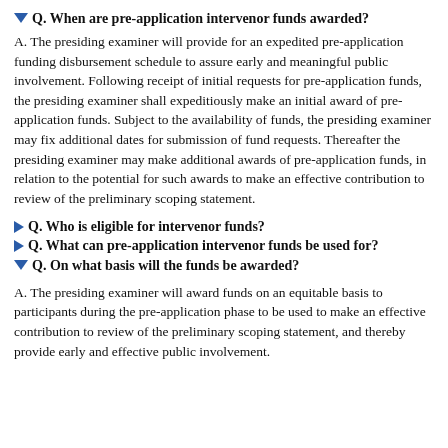Q. When are pre-application intervenor funds awarded?
A. The presiding examiner will provide for an expedited pre-application funding disbursement schedule to assure early and meaningful public involvement. Following receipt of initial requests for pre-application funds, the presiding examiner shall expeditiously make an initial award of pre-application funds. Subject to the availability of funds, the presiding examiner may fix additional dates for submission of fund requests. Thereafter the presiding examiner may make additional awards of pre-application funds, in relation to the potential for such awards to make an effective contribution to review of the preliminary scoping statement.
Q. Who is eligible for intervenor funds?
Q. What can pre-application intervenor funds be used for?
Q. On what basis will the funds be awarded?
A. The presiding examiner will award funds on an equitable basis to participants during the pre-application phase to be used to make an effective contribution to review of the preliminary scoping statement, and thereby provide early and effective public involvement.